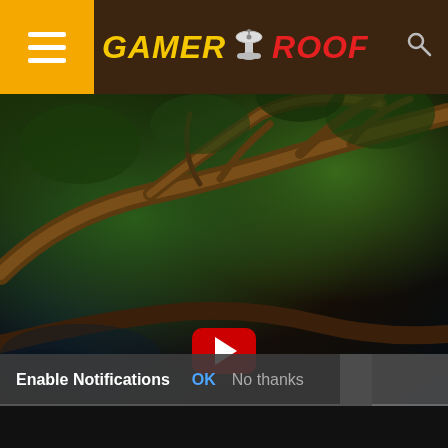[Figure (logo): Gamer Roof website header with hamburger menu on orange background, joystick logo, GAMER in yellow italic bold and ROOF in red italic bold on dark brown background, search icon on right]
[Figure (screenshot): Dark video game screenshot showing jungle scene with trees and branches, YouTube play button (red rounded rectangle with white triangle) visible at bottom center]
Enable Notifications   OK   No thanks